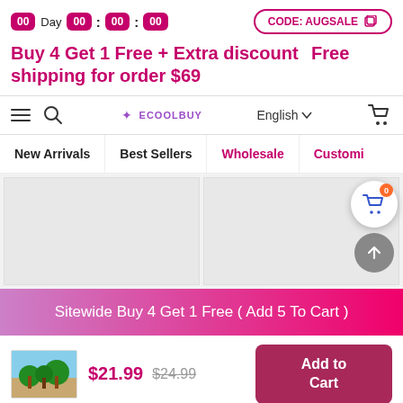00 Day 00 : 00 : 00   CODE: AUGSALE
Buy 4 Get 1 Free + Extra discount   Free shipping for order $69
[Figure (screenshot): ECoolBuy website navigation bar with hamburger menu, search icon, logo, English language selector, and cart icon]
New Arrivals   Best Sellers   Wholesale   Customi...
[Figure (screenshot): Two product image placeholder cells in a gray grid layout, with floating cart bubble showing 0 items and an up-arrow scroll button]
Sitewide Buy 4 Get 1 Free ( Add 5 To Cart )
[Figure (photo): Small thumbnail of a tropical beach scene with palm trees]
$21.99  $24.99
Add to Cart